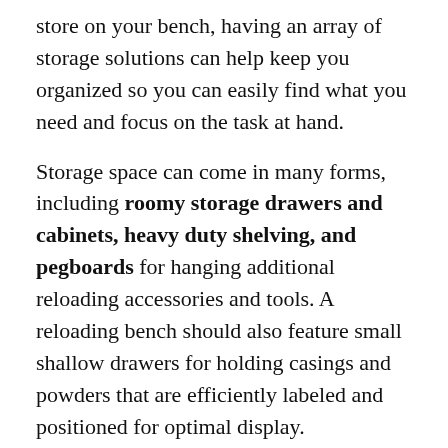store on your bench, having an array of storage solutions can help keep you organized so you can easily find what you need and focus on the task at hand.
Storage space can come in many forms, including roomy storage drawers and cabinets, heavy duty shelving, and pegboards for hanging additional reloading accessories and tools. A reloading bench should also feature small shallow drawers for holding casings and powders that are efficiently labeled and positioned for optimal display.
Customization
When it comes to customizing your reloading bench, the options are limitless. Choosing a bench